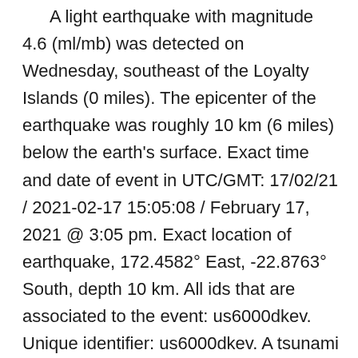A light earthquake with magnitude 4.6 (ml/mb) was detected on Wednesday, southeast of the Loyalty Islands (0 miles). The epicenter of the earthquake was roughly 10 km (6 miles) below the earth’s surface. Exact time and date of event in UTC/GMT: 17/02/21 / 2021-02-17 15:05:08 / February 17, 2021 @ 3:05 pm. Exact location of earthquake, 172.4582° East, -22.8763° South, depth 10 km. All ids that are associated to the event: us6000dkev. Unique identifier: us6000dkev. A tsunami warning has not been issued (Does not indicate if a tsunami actually did or will exist). The temblor was detected at 15:05:08 / 3:05 pm (local time epicenter).
Earthquakes 4.0 to 5.0 are often felt, but only causes minor damage. In the past 24 hours, there have been